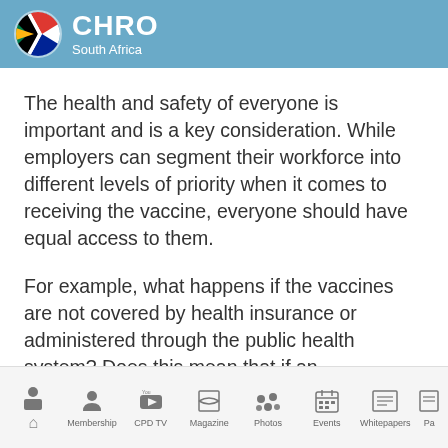CHRO South Africa
The health and safety of everyone is important and is a key consideration. While employers can segment their workforce into different levels of priority when it comes to receiving the vaccine, everyone should have equal access to them.
For example, what happens if the vaccines are not covered by health insurance or administered through the public health system? Does this mean that if an
Home | Membership | CPD TV | Magazine | Photos | Events | Whitepapers | Pa...